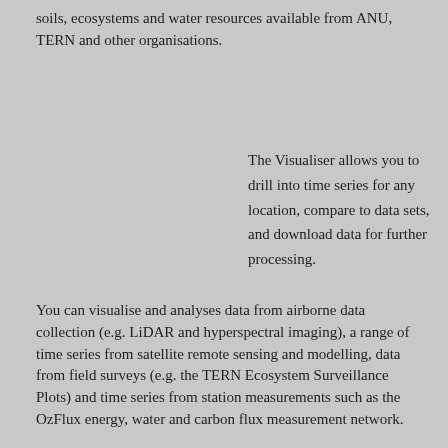soils, ecosystems and water resources available from ANU, TERN and other organisations.
The Visualiser allows you to drill into time series for any location, compare to data sets, and download data for further processing.
You can visualise and analyses data from airborne data collection (e.g. LiDAR and hyperspectral imaging), a range of time series from satellite remote sensing and modelling, data from field surveys (e.g. the TERN Ecosystem Surveillance Plots) and time series from station measurements such as the OzFlux energy, water and carbon flux measurement network.